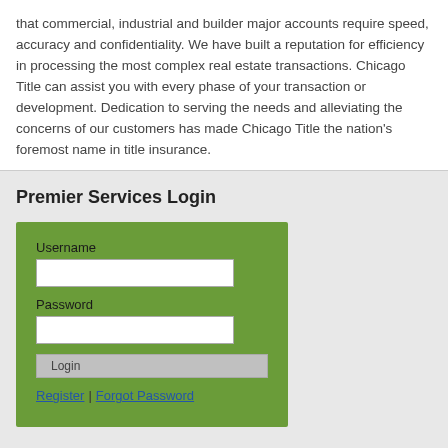that commercial, industrial and builder major accounts require speed, accuracy and confidentiality. We have built a reputation for efficiency in processing the most complex real estate transactions. Chicago Title can assist you with every phase of your transaction or development. Dedication to serving the needs and alleviating the concerns of our customers has made Chicago Title the nation's foremost name in title insurance.
Premier Services Login
[Figure (screenshot): Login form on green background with Username field, Password field, Login button, and Register | Forgot Password links]